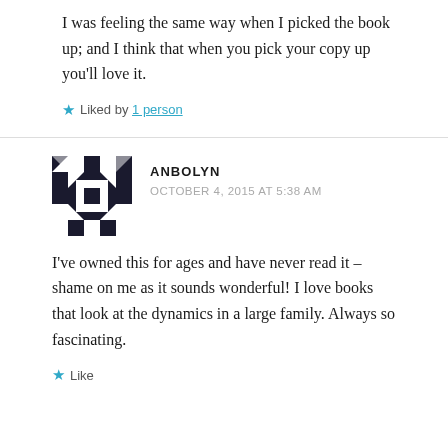I was feeling the same way when I picked the book up; and I think that when you pick your copy up you'll love it.
Liked by 1 person
ANBOLYN
OCTOBER 4, 2015 AT 5:38 AM
I've owned this for ages and have never read it – shame on me as it sounds wonderful! I love books that look at the dynamics in a large family. Always so fascinating.
Like